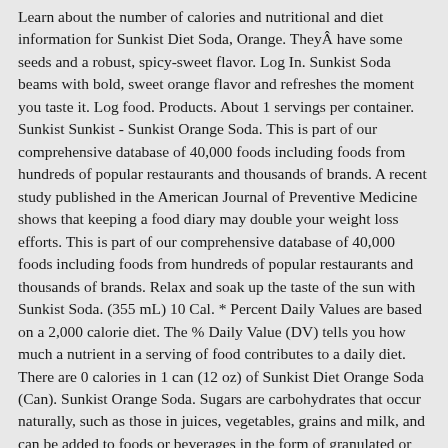Learn about the number of calories and nutritional and diet information for Sunkist Diet Soda, Orange. TheyÂ have some seeds and a robust, spicy-sweet flavor. Log In. Sunkist Soda beams with bold, sweet orange flavor and refreshes the moment you taste it. Log food. Products. About 1 servings per container. Sunkist Sunkist - Sunkist Orange Soda. This is part of our comprehensive database of 40,000 foods including foods from hundreds of popular restaurants and thousands of brands. A recent study published in the American Journal of Preventive Medicine shows that keeping a food diary may double your weight loss efforts. This is part of our comprehensive database of 40,000 foods including foods from hundreds of popular restaurants and thousands of brands. Relax and soak up the taste of the sun with Sunkist Soda. (355 mL) 10 Cal. * Percent Daily Values are based on a 2,000 calorie diet. The % Daily Value (DV) tells you how much a nutrient in a serving of food contributes to a daily diet. There are 0 calories in 1 can (12 oz) of Sunkist Diet Orange Soda (Can). Sunkist Orange Soda. Sugars are carbohydrates that occur naturally, such as those in juices, vegetables, grains and milk, and can be added to foods or beverages in the form of granulated or liquid sugar, corn syrup and honey, for example. Sunkist Ten Sunkist Ten - Orange Soda, 2 Liter Bottle. Gear up for good times with the bright taste of Diet Sunkist Soda. Calories